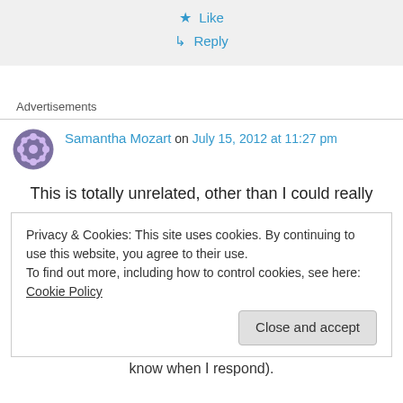★ Like
↳ Reply
Advertisements
Samantha Mozart on July 15, 2012 at 11:27 pm
This is totally unrelated, other than I could really
Privacy & Cookies: This site uses cookies. By continuing to use this website, you agree to their use. To find out more, including how to control cookies, see here: Cookie Policy
Close and accept
know when I respond).